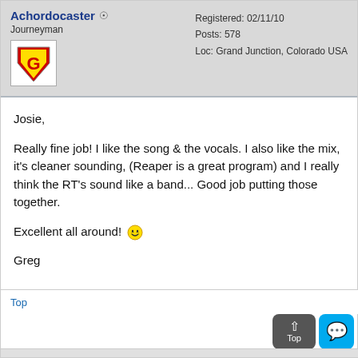Achordocaster
Journeyman
Registered: 02/11/10
Posts: 578
Loc: Grand Junction, Colorado USA
[Figure (logo): Superman-style shield logo with letter G in yellow on red background]
Josie,

Really fine job! I like the song & the vocals. I also like the mix, it's cleaner sounding, (Reaper is a great program) and I really think the RT's sound like a band... Good job putting those together.

Excellent all around! 😁

Greg
Top